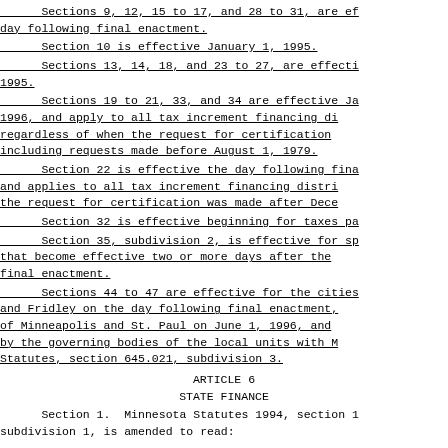Sections 9, 12, 15 to 17, and 28 to 31, are effective the day following final enactment.
Section 10 is effective January 1, 1995.
Sections 13, 14, 18, and 23 to 27, are effective January 1, 1995.
Sections 19 to 21, 33, and 34 are effective January 1, 1996, and apply to all tax increment financing districts regardless of when the request for certification was made, including requests made before August 1, 1979.
Section 22 is effective the day following final enactment and applies to all tax increment financing districts where the request for certification was made after December 31, 1982.
Section 32 is effective beginning for taxes payable in 1995.
Section 35, subdivision 2, is effective for special laws that become effective two or more days after the day following final enactment.
Sections 44 to 47 are effective for the cities of Columbia Heights and Fridley on the day following final enactment, for the city of Minneapolis and St. Paul on June 1, 1996, and may be adopted by the governing bodies of the local units with Minnesota Statutes, section 645.021, subdivision 3.
ARTICLE 6
STATE FINANCE
Section 1. Minnesota Statutes 1994, section 1, subdivision 1, is amended to read: